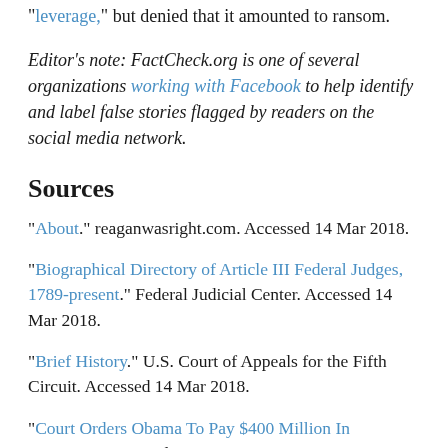"leverage," but denied that it amounted to ransom.
Editor's note: FactCheck.org is one of several organizations working with Facebook to help identify and label false stories flagged by readers on the social media network.
Sources
"About." reaganwasright.com. Accessed 14 Mar 2018.
"Biographical Directory of Article III Federal Judges, 1789-present." Federal Judicial Center. Accessed 14 Mar 2018.
"Brief History." U.S. Court of Appeals for the Fifth Circuit. Accessed 14 Mar 2018.
"Court Orders Obama To Pay $400 Million In Restitution." specialnewsusa.com. 11 Mar 2018.